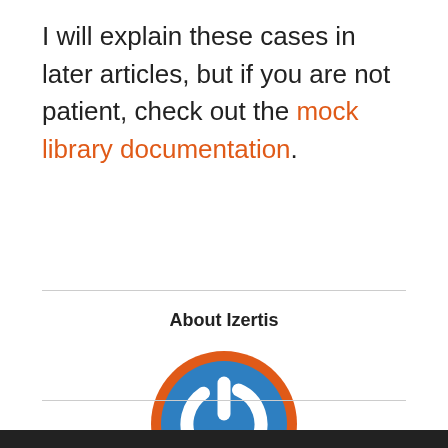I will explain these cases in later articles, but if you are not patient, check out the mock library documentation.
About Izertis
[Figure (logo): Izertis logo: a circular icon with an orange border and blue fill, featuring a white power button symbol in the center.]
View all posts by Izertis